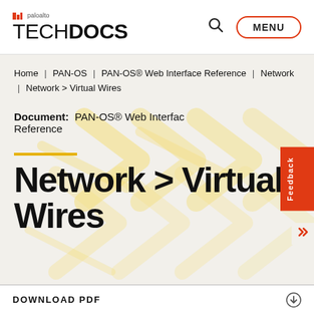paloalto TECHDOCS
Home | PAN-OS | PAN-OS® Web Interface Reference | Network | Network > Virtual Wires
Document: PAN-OS® Web Interface Reference
Network > Virtual Wires
DOWNLOAD PDF